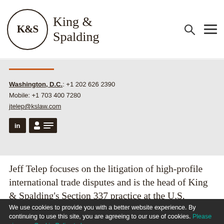[Figure (logo): King & Spalding law firm logo with circular K&S emblem and firm name]
Washington, D.C.: +1 202 626 2390
Mobile: +1 703 400 7280
jtelep@kslaw.com
[Figure (other): LinkedIn and vCard social/contact icons]
Jeff Telep focuses on the litigation of high-profile international trade disputes and is the head of King & Spalding's Section 337 practice at the U.S.
We use cookies to provide you with a better website experience. By continuing to use this site, you are agreeing to our use of cookies. Please view our Cookie Policy to learn